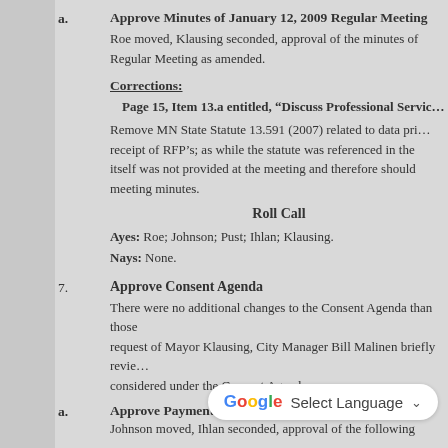a. Approve Minutes of January 12, 2009 Regular Meeting
Roe moved, Klausing seconded, approval of the minutes of Regular Meeting as amended.
Corrections:
Page 15, Item 13.a entitled, “Discuss Professional Servic…
Remove MN State Statute 13.591 (2007) related to data pri… receipt of RFP’s; as while the statute was referenced in the itself was not provided at the meeting and therefore should meeting minutes.
Roll Call
Ayes: Roe; Johnson; Pust; Ihlan; Klausing.
Nays: None.
7. Approve Consent Agenda
There were no additional changes to the Consent Agenda than those request of Mayor Klausing, City Manager Bill Malinen briefly revie… considered under the Consent Agenda.
a. Approve Payments
Johnson moved, Ihlan seconded, approval of the following